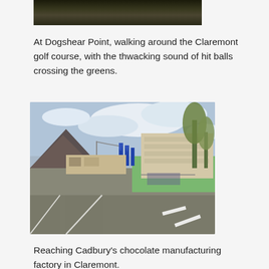[Figure (photo): Partial view of a dark/shadowy outdoor scene, likely foliage or terrain, cropped at the top of the page.]
At Dogshear Point, walking around the Claremont golf course, with the thwacking sound of hit balls crossing the greens.
[Figure (photo): Street-level view of what appears to be the Cadbury chocolate manufacturing facility in Claremont. A wide road with white road markings in the foreground, blue promotional banners/flags on poles, a multi-storey building in the background, trees, and a mountain visible on the left side under a partly cloudy sky.]
Reaching Cadbury's chocolate manufacturing factory in Claremont.